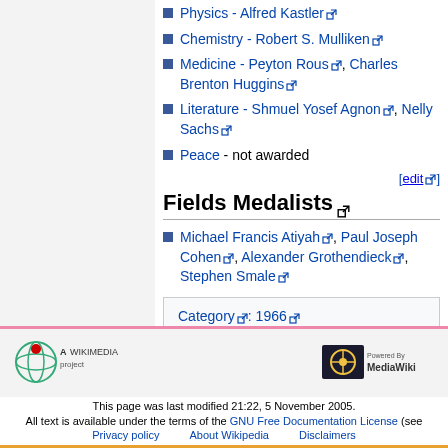Physics - Alfred Kastler
Chemistry - Robert S. Mulliken
Medicine - Peyton Rous, Charles Brenton Huggins
Literature - Shmuel Yosef Agnon, Nelly Sachs
Peace - not awarded
Fields Medalists
Michael Francis Atiyah, Paul Joseph Cohen, Alexander Grothendieck, Stephen Smale
Category: 1966
This page was last modified 21:22, 5 November 2005. All text is available under the terms of the GNU Free Documentation License (see Privacy policy · About Wikipedia · Disclaimers